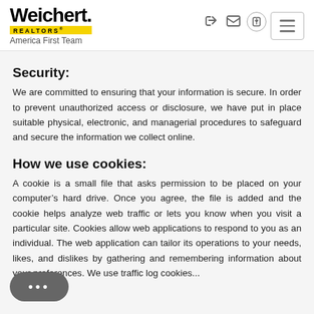[Figure (logo): Weichert Realtors America First Team logo with yellow bar and subtitle]
Security:
We are committed to ensuring that your information is secure. In order to prevent unauthorized access or disclosure, we have put in place suitable physical, electronic, and managerial procedures to safeguard and secure the information we collect online.
How we use cookies:
A cookie is a small file that asks permission to be placed on your computer’s hard drive. Once you agree, the file is added and the cookie helps analyze web traffic or lets you know when you visit a particular site. Cookies allow web applications to respond to you as an individual. The web application can tailor its operations to your needs, likes, and dislikes by gathering and remembering information about your preferences. We use traffic log cookies...